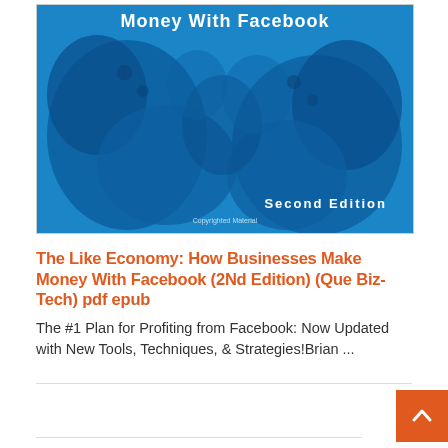[Figure (illustration): Book cover for 'The Like Economy: How Businesses Make Money With Facebook, Second Edition' — blue halftone design with white title text at top, 'Second Edition' text in white at bottom right, and 'Copyrighted Material' watermark text.]
The Like Economy: How Businesses Make Money With Facebook (2Nd Edition) (Que Biz-Tech) pdf epub
The #1 Plan for Profiting from Facebook: Now Updated with New Tools, Techniques, & Strategies!Brian ...